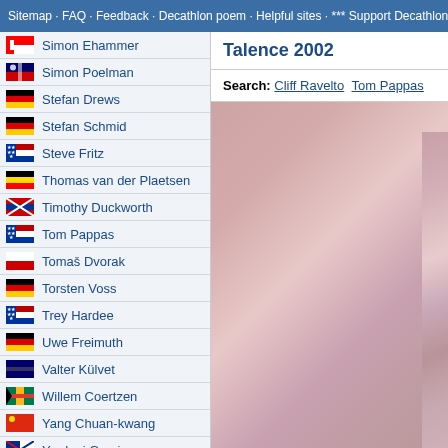Sitemap · FAQ · Feedback · Decathlon poem · Helpful sites · *** Support Decathlon
Simon Ehammer
Simon Poelman
Stefan Drews
Stefan Schmid
Steve Fritz
Thomas van der Plaetsen
Timothy Duckworth
Tom Pappas
Tomaš Dvorak
Torsten Voss
Trey Hardee
Uwe Freimuth
Valter Külvet
Willem Coertzen
Yang Chuan-kwang
Yordani Garcia
Zach Ziemek
Dean Macey's decathlon pictures
Talence 2002
Search: Cliff Ravelto Tom Pappas
[Figure (photo): Blurred pink/mauve background image in the right column]